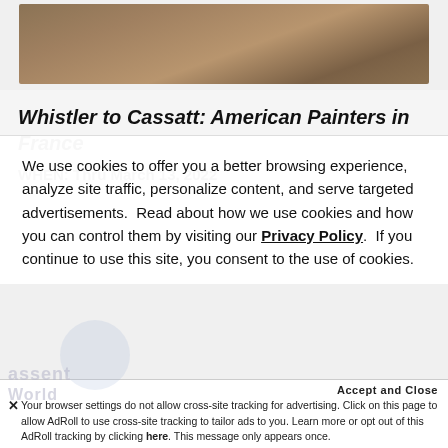[Figure (photo): Partial view of a brownish textured painting or artwork, cropped at top]
Whistler to Cassatt: American Painters in France
WHEN: Thru March 13, 2022
We use cookies to offer you a better browsing experience, analyze site traffic, personalize content, and serve targeted advertisements.  Read about how we use cookies and how you can control them by visiting our Privacy Policy.  If you continue to use this site, you consent to the use of cookies.
Accept and Close
Your browser settings do not allow cross-site tracking for advertising. Click on this page to allow AdRoll to use cross-site tracking to tailor ads to you. Learn more or opt out of this AdRoll tracking by clicking here. This message only appears once.